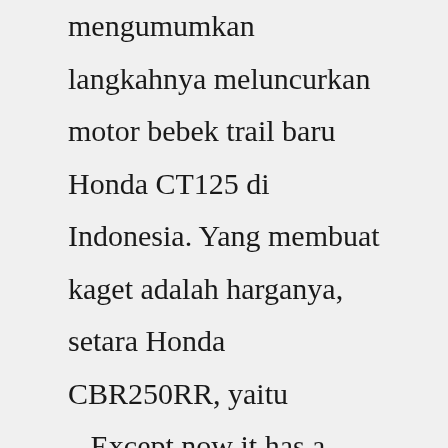mengumumkan langkahnya meluncurkan motor bebek trail baru Honda CT125 di Indonesia. Yang membuat kaget adalah harganya, setara Honda CBR250RR, yaitu ...Except now it has a fuel-injected 125cc engine, disc brakes and a four-speed gearbox. Like the originals, it still features our world-famous no-clutch semi-automatic transmission, a frame with a low step-over height, and an integral luggage rack. There's even front-wheel ABS and an electric